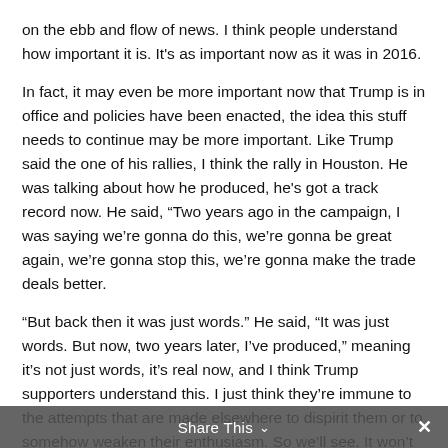on the ebb and flow of news. I think people understand how important it is. It's as important now as it was in 2016.
In fact, it may even be more important now that Trump is in office and policies have been enacted, the idea this stuff needs to continue may be more important. Like Trump said the one of his rallies, I think the rally in Houston. He was talking about how he produced, he's got a track record now. He said, "Two years ago in the campaign, I was saying we're gonna do this, we're gonna be great again, we're gonna stop this, we're gonna make the trade deals better.
"But back then it was just words." He said, "It was just words. But now, two years later, I've produced," meaning it's not just words, it's real now, and I think Trump supporters understand this. I just think they're immune to the attempts that are made elsewhere to dispirit them or to somehow weaken their enthusiasm. So we'll see. It won't be long here, Jimmy. I'm glad you called. Thanks for
Share This